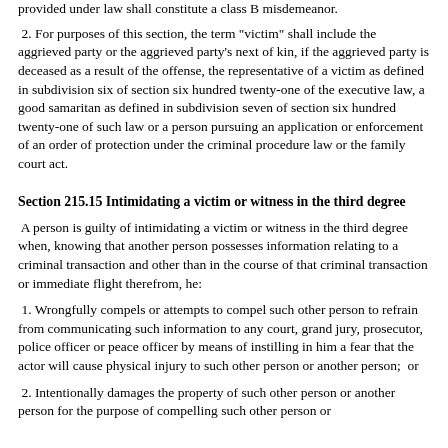provided under law shall constitute a class B misdemeanor.
2. For purposes of this section, the term "victim" shall include the aggrieved party or the aggrieved party's next of kin, if the aggrieved party is deceased as a result of the offense, the representative of a victim as defined in subdivision six of section six hundred twenty-one of the executive law, a good samaritan as defined in subdivision seven of section six hundred twenty-one of such law or a person pursuing an application or enforcement of an order of protection under the criminal procedure law or the family court act.
Section 215.15 Intimidating a victim or witness in the third degree
A person is guilty of intimidating a victim or witness in the third degree when, knowing that another person possesses information relating to a criminal transaction and other than in the course of that criminal transaction or immediate flight therefrom, he:
1. Wrongfully compels or attempts to compel such other person to refrain from communicating such information to any court, grand jury, prosecutor, police officer or peace officer by means of instilling in him a fear that the actor will cause physical injury to such other person or another person;  or
2. Intentionally damages the property of such other person or another person for the purpose of compelling such other person or